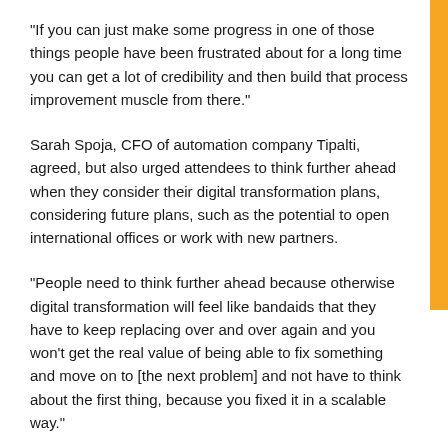“If you can just make some progress in one of those things people have been frustrated about for a long time you can get a lot of credibility and then build that process improvement muscle from there.”
Sarah Spoja, CFO of automation company Tipalti, agreed, but also urged attendees to think further ahead when they consider their digital transformation plans, considering future plans, such as the potential to open international offices or work with new partners.
“People need to think further ahead because otherwise digital transformation will feel like bandaids that they have to keep replacing over and over again and you won’t get the real value of being able to fix something and move on to [the next problem] and not have to think about the first thing, because you fixed it in a scalable way.”
That thinking ahead extends to thinking not only about what